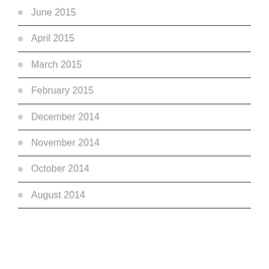June 2015
April 2015
March 2015
February 2015
December 2014
November 2014
October 2014
August 2014